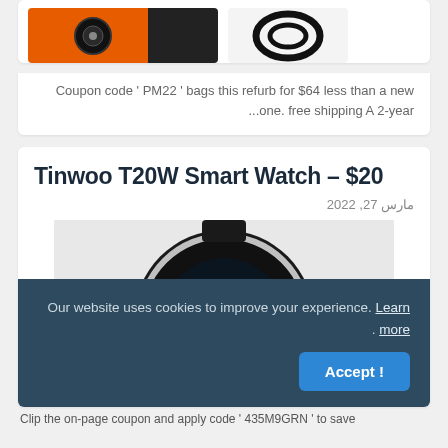[Figure (photo): Product image showing an orange and black camera/device on the left and a black cable coil on the right]
Coupon code ' PM22 ' bags this refurb for $64 less than a new ...one. free shipping A 2-year
Tinwoo T20W Smart Watch – $20
مارس 27, 2022
[Figure (photo): Close-up photo of a Tinwoo T20W Smart Watch showing 82°F on the display with a black band and silver bezel]
Our website uses cookies to improve your experience. Learn more .
Clip the on-page coupon and apply code ' 435M9GRN ' to save